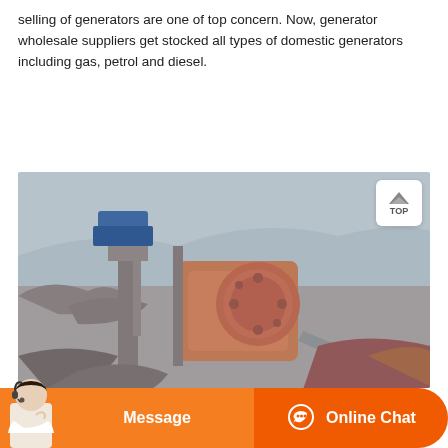selling of generators are one of top concern. Now, generator wholesale suppliers get stocked all types of domestic generators including gas, petrol and diesel.
[Figure (other): Orange button with chat icon labeled 'Get Price']
[Figure (photo): Outdoor photo of heavy industrial crushing/mining machinery (orange jaw crusher) in a rocky quarry setting with dust and debris]
[Figure (other): Website bottom navigation bar with Message button and Online Chat button, with avatar of a customer service representative]